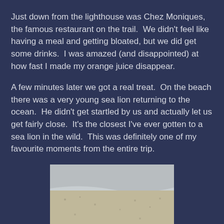Just down from the lighthouse was Chez Moniques, the famous restaurant on the trail.  We didn't feel like having a meal and getting bloated, but we did get some drinks.  I was amazed (and disappointed) at how fast I made my orange juice disappear.
A few minutes later we got a real treat.  On the beach there was a very young sea lion returning to the ocean.  He didn't get startled by us and actually let us get fairly close.  It's the closest I've ever gotten to a sea lion in the wild.  This was definitely one of my favourite moments from the entire trip.
[Figure (photo): A young sea lion (seal) resting on a sandy beach, with the ocean shoreline visible in the background. The animal is in the center-lower portion of the image on grey-brown sand.]